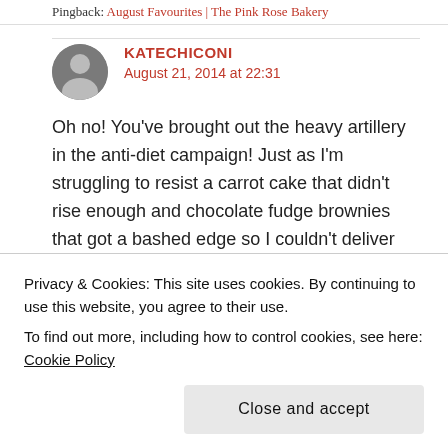Pingback: August Favourites | The Pink Rose Bakery
KATECHICONI
August 21, 2014 at 22:31
Oh no! You've brought out the heavy artillery in the anti-diet campaign! Just as I'm struggling to resist a carrot cake that didn't rise enough and chocolate fudge brownies that got a bashed edge so I couldn't deliver them to the coffee shop. Doughnuts are my absolute favourite. It's just cruel.
Privacy & Cookies: This site uses cookies. By continuing to use this website, you agree to their use.
To find out more, including how to control cookies, see here: Cookie Policy
Close and accept